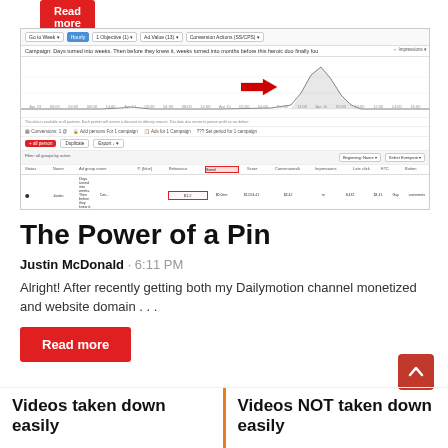[Figure (screenshot): Screenshot of a digital advertising campaign dashboard showing campaign name, filters, a performance chart with an arrow annotation pointing to a spike, stats row, and an ad group table with a highlighted 'Send' field.]
The Power of a Pin
Justin McDonald · 6:11 PM
Alright! After recently getting both my Dailymotion channel monetized and website domain . . .
Read more
Videos taken down easily
Videos NOT taken down easily